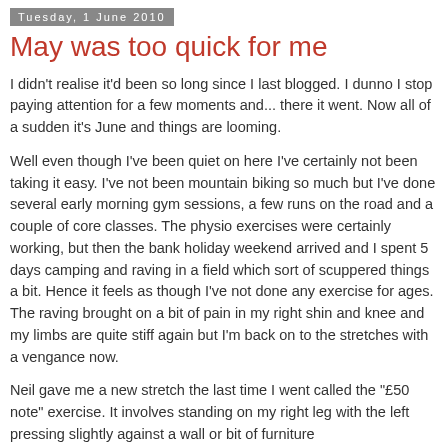Tuesday, 1 June 2010
May was too quick for me
I didn't realise it'd been so long since I last blogged. I dunno I stop paying attention for a few moments and... there it went. Now all of a sudden it's June and things are looming.
Well even though I've been quiet on here I've certainly not been taking it easy. I've not been mountain biking so much but I've done several early morning gym sessions, a few runs on the road and a couple of core classes. The physio exercises were certainly working, but then the bank holiday weekend arrived and I spent 5 days camping and raving in a field which sort of scuppered things a bit. Hence it feels as though I've not done any exercise for ages. The raving brought on a bit of pain in my right shin and knee and my limbs are quite stiff again but I'm back on to the stretches with a vengance now.
Neil gave me a new stretch the last time I went called the "£50 note" exercise. It involves standing on my right leg with the left pressing slightly against a wall or bit of furniture